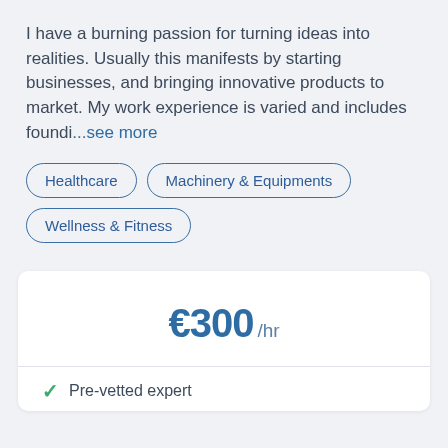I have a burning passion for turning ideas into realities. Usually this manifests by starting businesses, and bringing innovative products to market. My work experience is varied and includes foundi...see more
Healthcare
Machinery & Equipments
Wellness & Fitness
€300 /hr
Pre-vetted expert